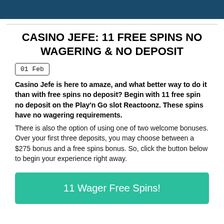CASINO JEFE: 11 FREE SPINS NO WAGERING & NO DEPOSIT
01 Feb
Casino Jefe is here to amaze, and what better way to do it than with free spins no deposit? Begin with 11 free spin no deposit on the Play'n Go slot Reactoonz. These spins have no wagering requirements. There is also the option of using one of two welcome bonuses. Over your first three deposits, you may choose between a $275 bonus and a free spins bonus. So, click the button below to begin your experience right away.
11 Wager Free Spins!